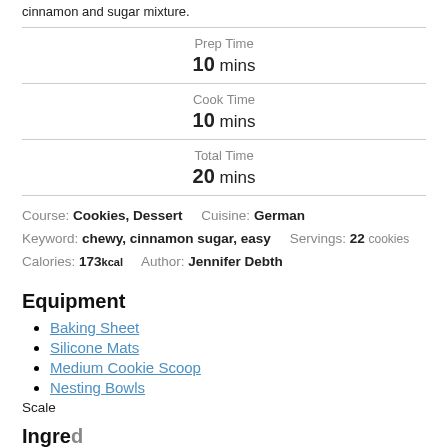cinnamon and sugar mixture.
| Prep Time | 10 mins |
| Cook Time | 10 mins |
| Total Time | 20 mins |
Course: Cookies, Dessert   Cuisine: German
Keyword: chewy, cinnamon sugar, easy   Servings: 22 cookies
Calories: 173kcal   Author: Jennifer Debth
Equipment
Baking Sheet
Silicone Mats
Medium Cookie Scoop
Nesting Bowls
Scale
Ingredients